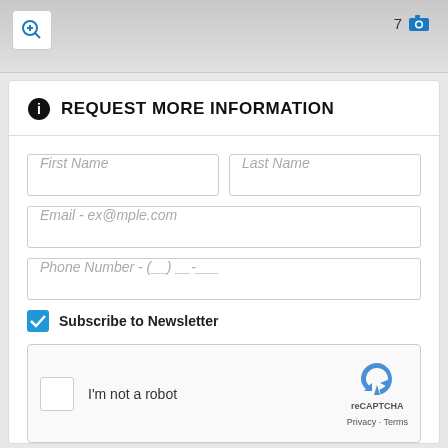[Figure (screenshot): Top portion of a car image with a zoom button (magnifying glass with plus) on the left and a photo count '7' with camera icon on the right]
REQUEST MORE INFORMATION
First Name
Last Name
Email - ex@mple.com
Phone Number - (__) __-___
Subscribe to Newsletter
[Figure (screenshot): reCAPTCHA widget with checkbox 'I'm not a robot' and reCAPTCHA logo with Privacy and Terms links]
SUBMIT